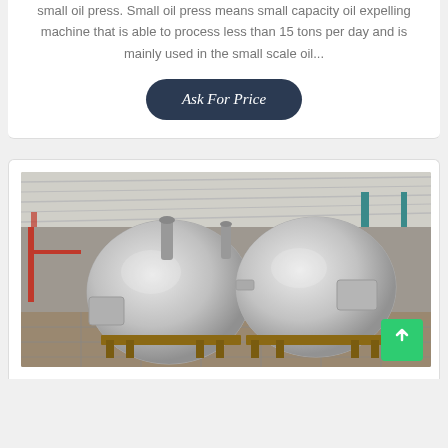small oil press. Small oil press means small capacity oil expelling machine that is able to process less than 15 tons per day and is mainly used in the small scale oil...
Ask For Price
[Figure (photo): Industrial facility interior showing two large spherical stainless steel tanks or vessels on a concrete floor, with metal framework, piping, and a green teal structural frame visible in the background under a corrugated roof.]